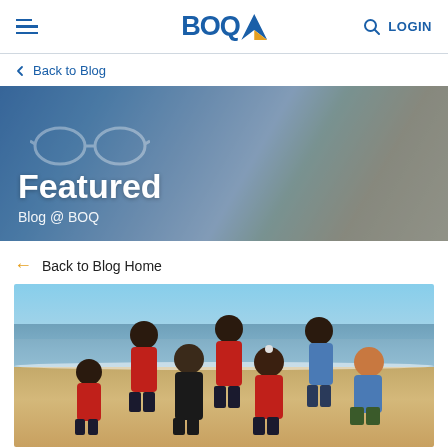BOQ LOGIN
Back to Blog
[Figure (photo): BOQ Featured Blog hero banner with text 'Featured' and 'Blog @ BOQ' overlaid on a blurred background of glasses on a notebook]
← Back to Blog Home
[Figure (photo): Group of young people in red shirts posing on a beach with ocean in background]